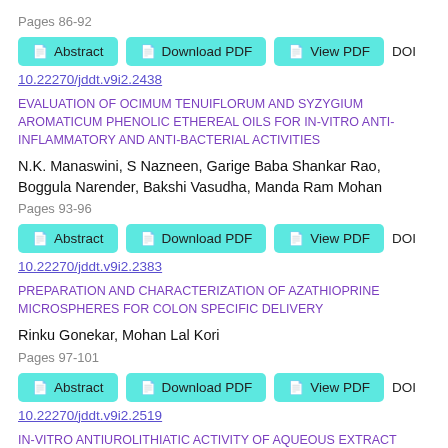Pages 86-92
Abstract | Download PDF | View PDF | DOI
10.22270/jddt.v9i2.2438
EVALUATION OF OCIMUM TENUIFLORUM AND SYZYGIUM AROMATICUM PHENOLIC ETHEREAL OILS FOR IN-VITRO ANTI-INFLAMMATORY AND ANTI-BACTERIAL ACTIVITIES
N.K. Manaswini, S Nazneen, Garige Baba Shankar Rao, Boggula Narender, Bakshi Vasudha, Manda Ram Mohan
Pages 93-96
Abstract | Download PDF | View PDF | DOI
10.22270/jddt.v9i2.2383
PREPARATION AND CHARACTERIZATION OF AZATHIOPRINE MICROSPHERES FOR COLON SPECIFIC DELIVERY
Rinku Gonekar, Mohan Lal Kori
Pages 97-101
Abstract | Download PDF | View PDF | DOI
10.22270/jddt.v9i2.2519
IN-VITRO ANTIUROLITHIATIC ACTIVITY OF AQUEOUS EXTRACT PAVONIA